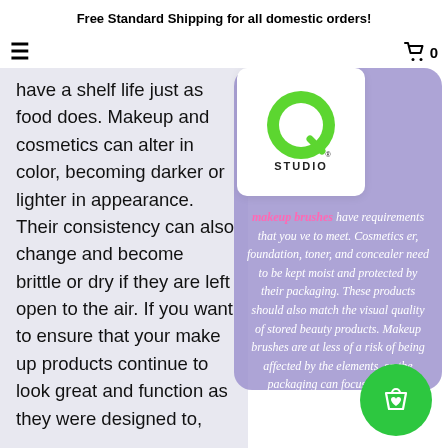Free Standard Shipping for all domestic orders!
have a shelf life just as food does. Makeup and cosmetics can alter in color, becoming darker or lighter in appearance. Their consistency can also change and become brittle or dry if they are left open to the air. If you want to ensure that your make up products continue to look great and function as they were designed to,
[Figure (logo): Q Studio green logo on white background]
makeup brushes have requirements that you ve to meet. Cosmetics er, foundation, toner, and concealer need to be kept moist and protected by their packaging. These products should also match the visual quality of stored beauty products. Makeup brushes are at less of a risk of being affected by the elements, so the packaging can focus more on increasing the visual appeal of the product.